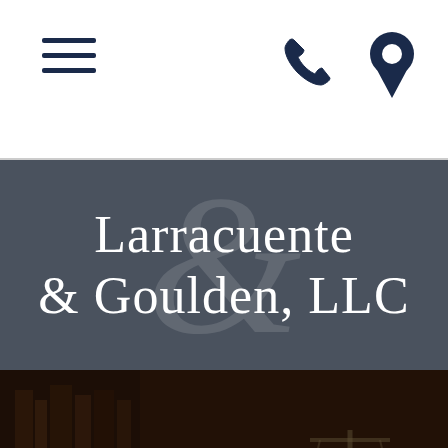Navigation bar with hamburger menu, phone icon, and location pin icon
Larracuente & Goulden, LLC
[Figure (illustration): Hero image of a wooden judge's gavel with scales of justice in the background, dark brown tones with overlay, and the word BLOG centered in white bold text]